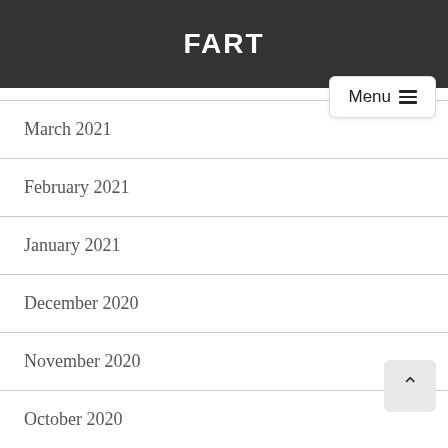FART
March 2021
February 2021
January 2021
December 2020
November 2020
October 2020
September 2020
August 2020
July 2020